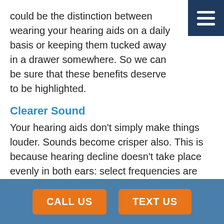could be the distinction between wearing your hearing aids on a daily basis or keeping them tucked away in a drawer somewhere. So we can be sure that these benefits deserve to be highlighted.
Clearer Sound
Your hearing aids don't simply make things louder. Sounds become crisper also. This is because hearing decline doesn't take place evenly in both ears: select frequencies are the first to go. So a hearing aid can make the sounds all around you clearer and easier to understand.
Also, contemporary hearing aids have all sorts of
CALL US    TEXT US